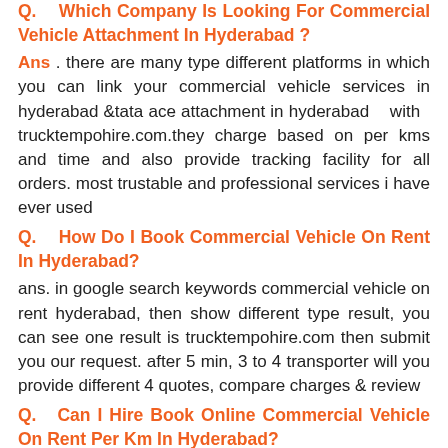Q.  Which Company Is Looking For Commercial Vehicle Attachment In Hyderabad ?
Ans . there are many type different platforms in which you can link your commercial vehicle services in hyderabad &tata ace attachment in hyderabad with trucktempohire.com.they charge based on per kms and time and also provide tracking facility for all orders. most trustable and professional services i have ever used
Q.  How Do I Book Commercial Vehicle On Rent In Hyderabad?
ans. in google search keywords commercial vehicle on rent hyderabad, then show different type result, you can see one result is trucktempohire.com then submit you our request. after 5 min, 3 to 4 transporter will you provide different 4 quotes, compare charges & review
Q.  Can I Hire Book Online Commercial Vehicle On Rent Per Km In Hyderabad?
Ans – tata ace/chhota hathi on rent rate per km in hyderabad totally depends on mini tempo transporters, the charges of chhota hathi on rent per km in hyderabad are 0-5km is